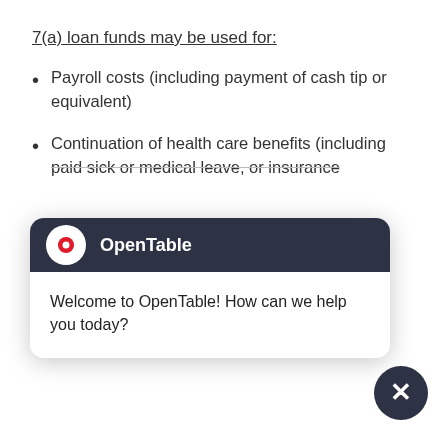7(a) loan funds may be used for:
Payroll costs (including payment of cash tip or equivalent)
Continuation of health care benefits (including paid sick or medical leave, or insurance
[Figure (screenshot): OpenTable chat widget popup with dark header showing OpenTable logo and name, and white body with message: Welcome to OpenTable! How can we help you today?]
2020, including anticipated bonuses)
Current advice is to exclude those m[aking] over $100K